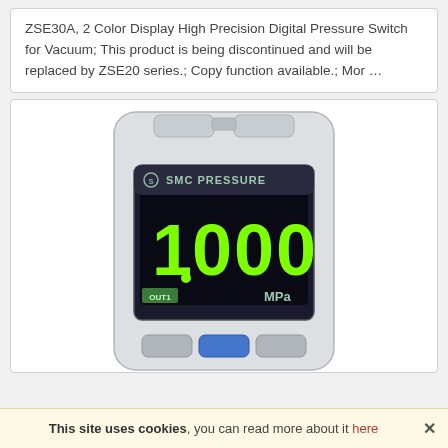ZSE30A, 2 Color Display High Precision Digital Pressure Switch for Vacuum; This product is being discontinued and will be replaced by ZSE20 series.; Copy function available.; Mor …
[Figure (photo): Photo of the SMC ZSE30A digital pressure switch device. The device is a white rectangular unit with a black digital display panel showing '1.000' in large green LED-style digits, with 'SMC PRESSURE' text at the top of the display, 'OUT1' label in a green box at bottom left of the display, and 'MPa' unit text at bottom right. The device has buttons at the top and bottom.]
This site uses cookies, you can read more about it here